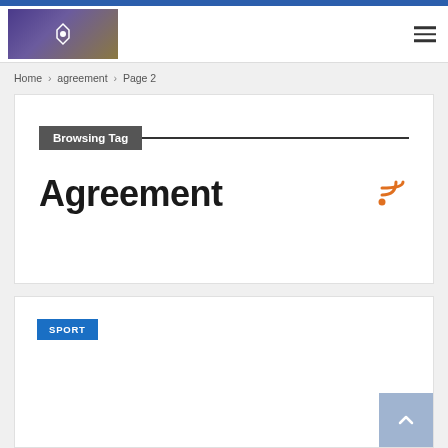Site header with logo and navigation menu
Home > agreement > Page 2
Browsing Tag
Agreement
SPORT